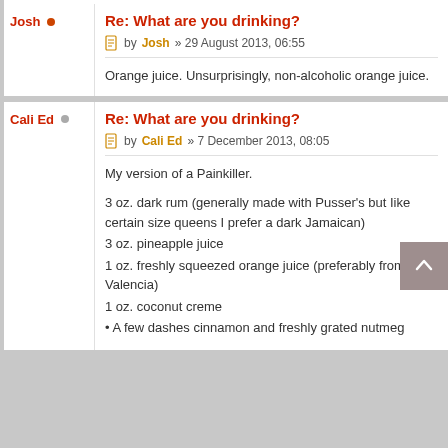Josh
Re: What are you drinking?
by Josh » 29 August 2013, 06:55
Orange juice. Unsurprisingly, non-alcoholic orange juice.
Cali Ed
Re: What are you drinking?
by Cali Ed » 7 December 2013, 08:05
My version of a Painkiller.

3 oz. dark rum (generally made with Pusser's but Iike certain size queens I prefer a dark Jamaican)
3 oz. pineapple juice
1 oz. freshly squeezed orange juice (preferably from a Valencia)
1 oz. coconut creme
• A few dashes cinnamon and freshly grated nutmeg